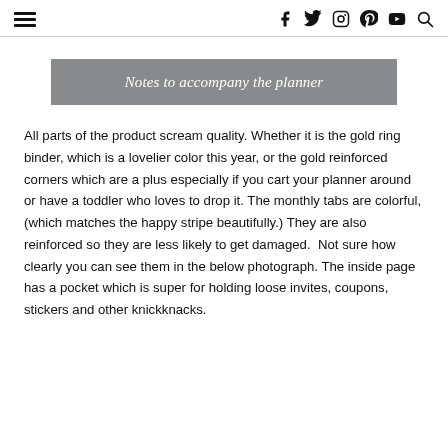≡  f  t  (instagram)  (pinterest)  (youtube)  (search)
Notes to accompany the planner
All parts of the product scream quality. Whether it is the gold ring binder, which is a lovelier color this year, or the gold reinforced corners which are a plus especially if you cart your planner around or have a toddler who loves to drop it. The monthly tabs are colorful, (which matches the happy stripe beautifully.) They are also reinforced so they are less likely to get damaged.  Not sure how clearly you can see them in the below photograph. The inside page has a pocket which is super for holding loose invites, coupons, stickers and other knickknacks.